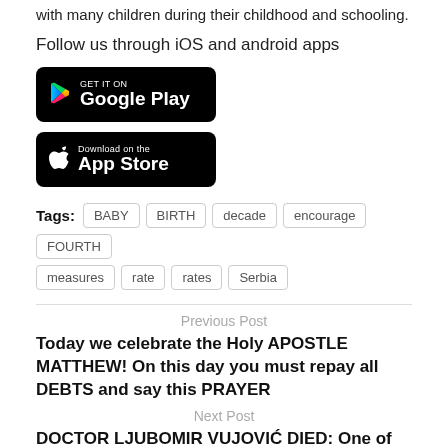with many children during their childhood and schooling.
Follow us through iOS and android apps
[Figure (logo): Google Play badge — black rounded rectangle with GET IT ON text and Google Play logo in white]
[Figure (logo): App Store badge — black rounded rectangle with Download on the App Store text and Apple logo in white]
Tags: BABY  BIRTH  decade  encourage  FOURTH  measures  rate  rates  Serbia
Previous Post
Today we celebrate the Holy APOSTLE MATTHEW! On this day you must repay all DEBTS and say this PRAYER
Next Post
DOCTOR LJUBOMIR VUJOVIĆ DIED: One of the leading